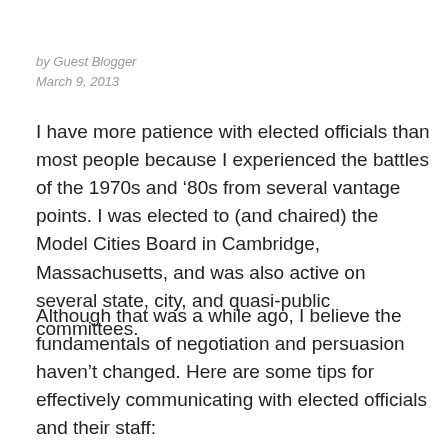by Guest Blogger
March 9, 2013
I have more patience with elected officials than most people because I experienced the battles of the 1970s and ‘ 80s from several vantage points. I was elected to (and chaired) the Model Cities Board in Cambridge, Massachusetts, and was also active on several state, city, and quasi-public committees.
Although that was a while ago, I believe the fundamentals of negotiation and persuasion haven’t changed. Here are some tips for effectively communicating with elected officials and their staff: